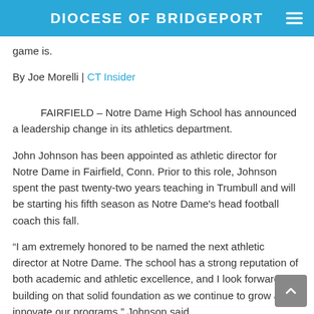DIOCESE OF BRIDGEPORT
game is.
By Joe Morelli | CT Insider
FAIRFIELD – Notre Dame High School has announced a leadership change in its athletics department.
John Johnson has been appointed as athletic director for Notre Dame in Fairfield, Conn. Prior to this role, Johnson spent the past twenty-two years teaching in Trumbull and will be starting his fifth season as Notre Dame's head football coach this fall.
“I am extremely honored to be named the next athletic director at Notre Dame. The school has a strong reputation of both academic and athletic excellence, and I look forward to building on that solid foundation as we continue to grow and innovate our programs,” Johnson said.